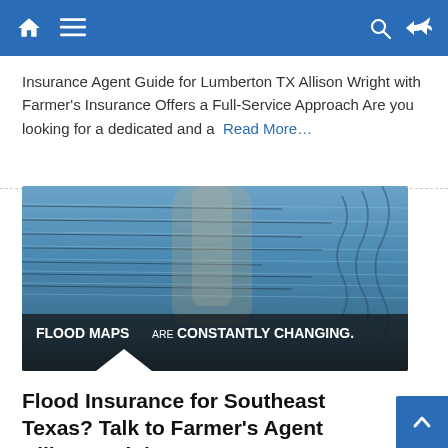Navigation bar with home, menu, search, and shuffle icons
Insurance Agent Guide for Lumberton TX Allison Wright with Farmer's Insurance Offers a Full-Service Approach Are you looking for a dedicated and a Read More…
[Figure (photo): Water with ripples and reflection of trees, with overlay text reading 'FLOOD MAPS are CONSTANTLY CHANGING.']
Flood Insurance for Southeast Texas? Talk to Farmer's Agent Allison Wright